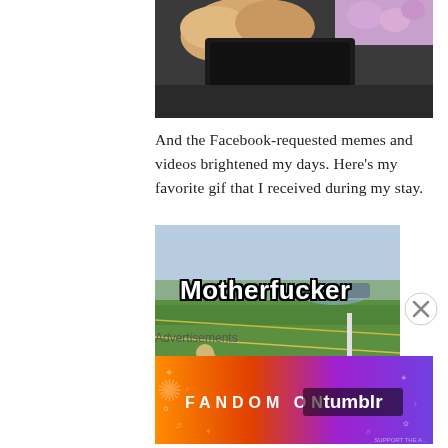[Figure (photo): Cropped photo showing a hand holding something dark, with floral background visible at top right and dark background below]
And the Facebook-requested memes and videos brightened my days. Here’s my favorite gif that I received during my stay.
[Figure (photo): A meme/gif image showing an alpaca or llama in a green grassy field with the text 'Motherfucker' overlaid in bold white letters]
Advertisements
[Figure (infographic): Fandom on Tumblr advertisement banner with colorful gradient background (orange to purple) and bold white text reading FANDOM ON tumblr]